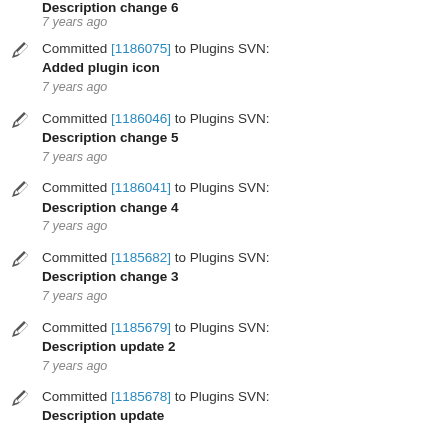Description change 6
7 years ago
Committed [1186075] to Plugins SVN:
Added plugin icon
7 years ago
Committed [1186046] to Plugins SVN:
Description change 5
7 years ago
Committed [1186041] to Plugins SVN:
Description change 4
7 years ago
Committed [1185682] to Plugins SVN:
Description change 3
7 years ago
Committed [1185679] to Plugins SVN:
Description update 2
7 years ago
Committed [1185678] to Plugins SVN:
Description update